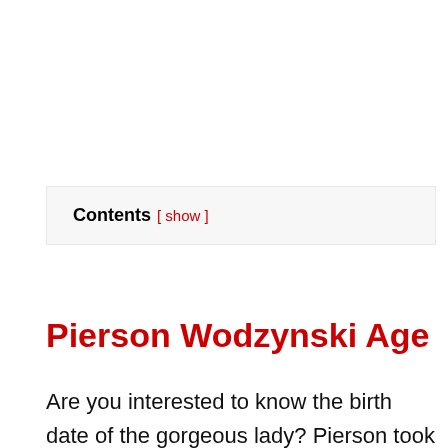Contents [ show ]
Pierson Wodzynski Age
Are you interested to know the birth date of the gorgeous lady? Pierson took birth on February 18,